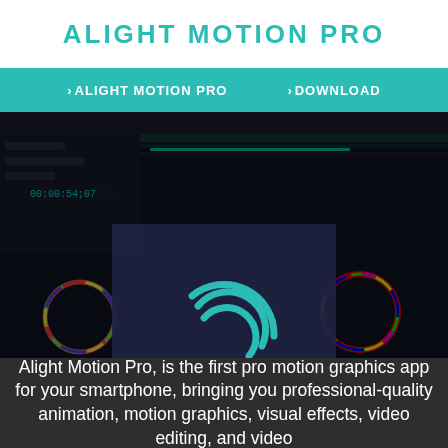ALIGHT MOTION PRO
>ALIGHT MOTION PRO   >DOWNLOAD
[Figure (screenshot): Alight Motion Pro app interface screenshot showing timeline, color wheels, and editing controls in dark UI, with the app logo (spiral wave icon in teal on dark navy background) centered in the foreground.]
Alight Motion Pro, is the first pro motion graphics app for your smartphone, bringing you professional-quality animation, motion graphics, visual effects, video editing, and video